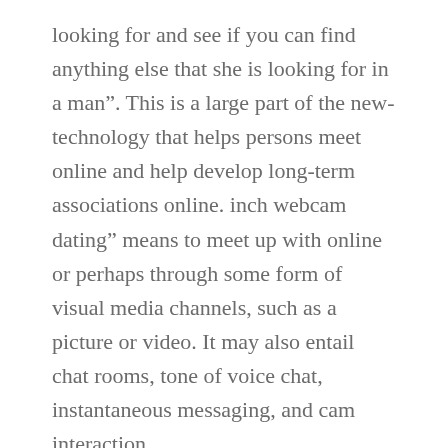looking for and see if you can find anything else that she is looking for in a man”. This is a large part of the new-technology that helps persons meet online and help develop long-term associations online. inch webcam dating” means to meet up with online or perhaps through some form of visual media channels, such as a picture or video. It may also entail chat rooms, tone of voice chat, instantaneous messaging, and cam interaction.
The one thing that many real love do not realize is that they can use the web as a way to meet offline people as well. Have you ever gone over a blind time frame, then you discover how important good